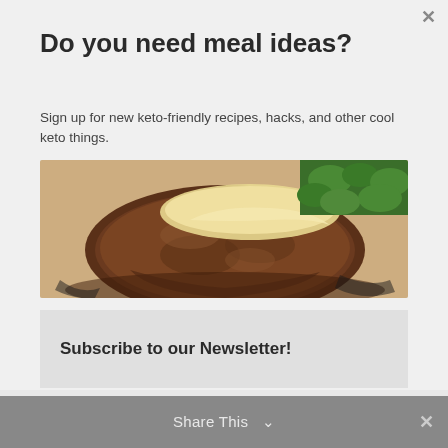Do you need meal ideas?
Sign up for new keto-friendly recipes, hacks, and other cool keto things.
[Figure (photo): Close-up photo of a cooked burger patty topped with melted cheese, served on a decorative plate with greens in the background.]
Subscribe to our Newsletter!
Share This  ✓